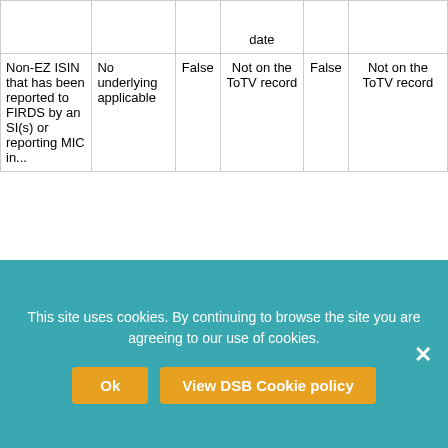|  |  |  | date |  |  |
| --- | --- | --- | --- | --- | --- |
| Non-EZ ISIN that has been reported to FIRDS by an SI(s) or reporting MIC in... | No underlying applicable | False | Not on the ToTV record | False | Not on the ToTV record |
This site uses cookies. By continuing to browse the site you are agreeing to our use of cookies.